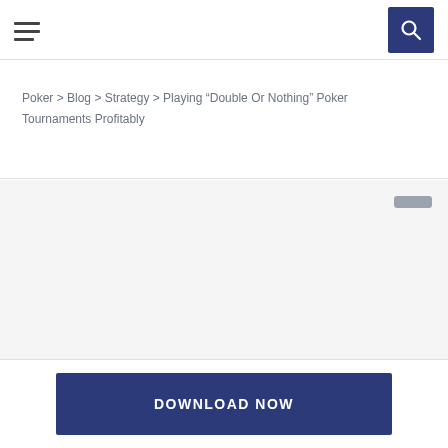Navigation bar with hamburger menu and search button
Poker > Blog > Strategy > Playing “Double Or Nothing” Poker Tournaments Profitably
[Figure (photo): Gray placeholder image area for article hero image]
DOWNLOAD NOW